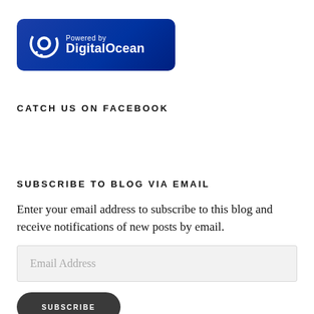[Figure (logo): Powered by DigitalOcean badge — dark blue rounded rectangle with DigitalOcean logo icon and text 'Powered by DigitalOcean' in white]
CATCH US ON FACEBOOK
SUBSCRIBE TO BLOG VIA EMAIL
Enter your email address to subscribe to this blog and receive notifications of new posts by email.
Email Address
SUBSCRIBE